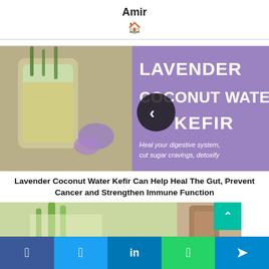Amir
[Figure (infographic): Lavender Coconut Water Kefir promotional image. Left half shows a mason jar of pale green kefir drink with herbs and lavender flowers. Right half is purple with white bold text reading LAVENDER COCONUT WATER KEFIR and tagline 'Heal your digestive system, cut sugar cravings, detoxify'. A circular back-arrow navigation button overlays the center.]
Lavender Coconut Water Kefir Can Help Heal The Gut, Prevent Cancer and Strengthen Immune Function
[Figure (photo): Two partial thumbnail images at the bottom: left shows a green smoothie/juice with celery, right shows a brown beverage. A teal scroll-to-top button with up arrow appears at far right.]
Facebook Twitter LinkedIn WhatsApp Telegram share buttons